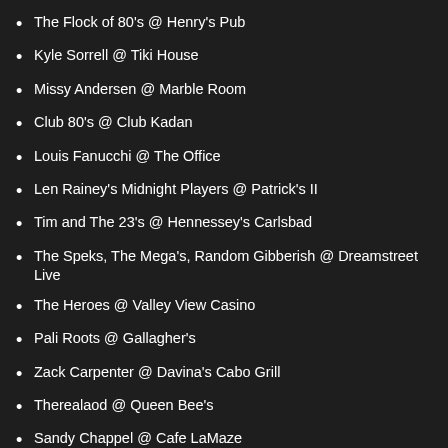The Flock of 80's @ Henry's Pub
Kyle Sorrell @ Tiki House
Missy Andersen @ Marble Room
Club 80's @ Club Kadan
Louis Fanucchi @ The Office
Len Rainey's Midnight Players @ Patrick's II
Tim and The 23's @ Hennessey's Carlsbad
The Speks, The Mega's, Random Gibberish @ Dreamstreet Live
The Heroes @ Valley View Casino
Pali Roots @ Gallagher's
Zack Carpenter @ Davina's Cabo Grill
Therealaod @ Queen Bee's
Sandy Chappel @ Cafe LaMaze